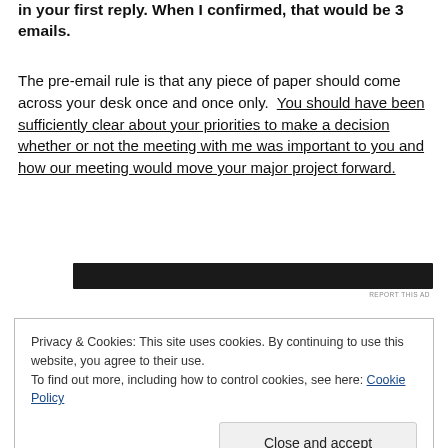in your first reply. When I confirmed, that would be 3 emails.
The pre-email rule is that any piece of paper should come across your desk once and once only. You should have been sufficiently clear about your priorities to make a decision whether or not the meeting with me was important to you and how our meeting would move your major project forward.
[Figure (other): Black advertisement banner, partially visible, with 'REPORT THIS AD' text below right]
Privacy & Cookies: This site uses cookies. By continuing to use this website, you agree to their use.
To find out more, including how to control cookies, see here: Cookie Policy
Close and accept